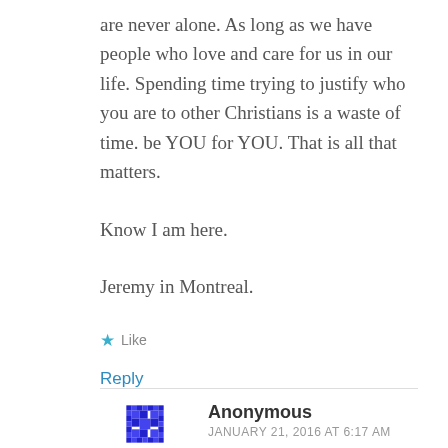are never alone. As long as we have people who love and care for us in our life. Spending time trying to justify who you are to other Christians is a waste of time. be YOU for YOU. That is all that matters.

Know I am here.

Jeremy in Montreal.
Like
Reply
Anonymous
JANUARY 21, 2016 AT 6:17 AM